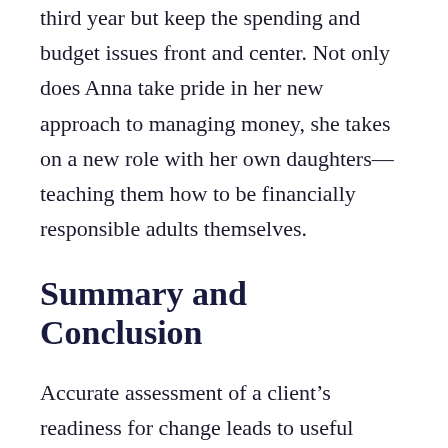third year but keep the spending and budget issues front and center. Not only does Anna take pride in her new approach to managing money, she takes on a new role with her own daughters—teaching them how to be financially responsible adults themselves.
Summary and Conclusion
Accurate assessment of a client's readiness for change leads to useful techniques and expectations as the client struggles to undo dysfunctional spending habits. With this knowledge, you can shift from frustrated helpers to skillful, effective growth with